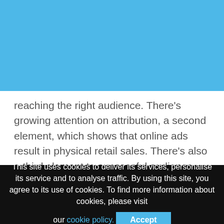[Figure (screenshot): Blue background header area with faint watermark text]
reaching the right audience. There's growing attention on attribution, a second element, which shows that online ads result in physical retail sales. There's also a third element to successful audience
This site uses cookies to deliver its services, personalise its service and to analyse traffic. By using this site, you agree to its use of cookies. To find more information about cookies, please visit our cookie policy.